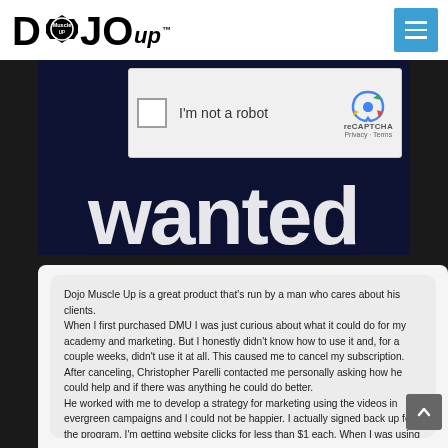[Figure (logo): Dojo Muscle Up logo with stylized text and circle emblem]
[Figure (screenshot): reCAPTCHA widget showing checkbox 'I'm not a robot' with reCAPTCHA logo, Privacy and Terms links]
[Figure (screenshot): Dark navy banner with large white 'wanted' text partially visible]
Dojo Muscle Up is a great product that's run by a man who cares about his clients. When I first purchased DMU I was just curious about what it could do for my academy and marketing. But I honestly didn't know how to use it and, for a couple weeks, didn't use it at all. This caused me to cancel my subscription. After canceling, Christopher Parelli contacted me personally asking how he could help and if there was anything he could do better. He worked with me to develop a strategy for marketing using the videos in evergreen campaigns and I could not be happier. I actually signed back up for the program. I'm getting website clicks for less than $1 each. When I was using another popular martial arts marketing service,